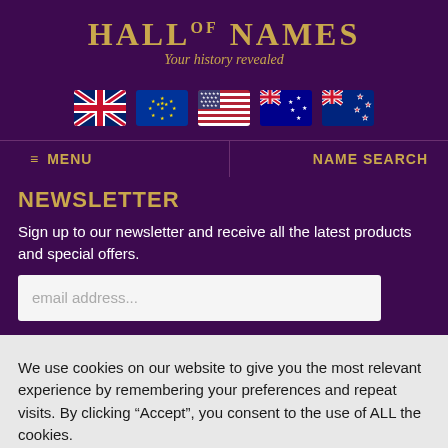[Figure (logo): Hall of Names logo with golden text 'HALL OF NAMES' and italic tagline 'Your history revealed' on dark purple background]
[Figure (infographic): Row of five country flag icons: UK, EU, USA, Australia, New Zealand flags on dark purple background]
≡ MENU   NAME SEARCH
NEWSLETTER
Sign up to our newsletter and receive all the latest products and special offers.
email address...
We use cookies on our website to give you the most relevant experience by remembering your preferences and repeat visits. By clicking "Accept", you consent to the use of ALL the cookies.
Cookie settings
ACCEPT